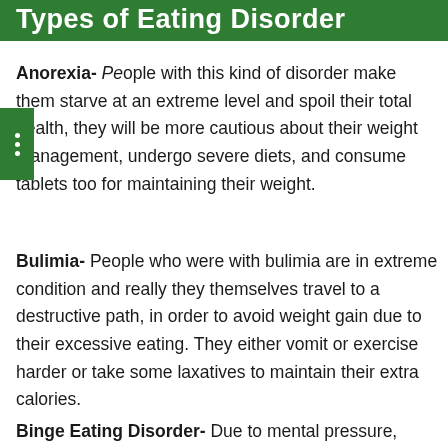Types of Eating Disorder
Anorexia- People with this kind of disorder make them starve at an extreme level and spoil their total health, they will be more cautious about their weight management, undergo severe diets, and consume tablets too for maintaining their weight.
Bulimia- People who were with bulimia are in extreme condition and really they themselves travel to a destructive path, in order to avoid weight gain due to their excessive eating. They either vomit or exercise harder or take some laxatives to maintain their extra calories.
Binge Eating Disorder- Due to mental pressure,